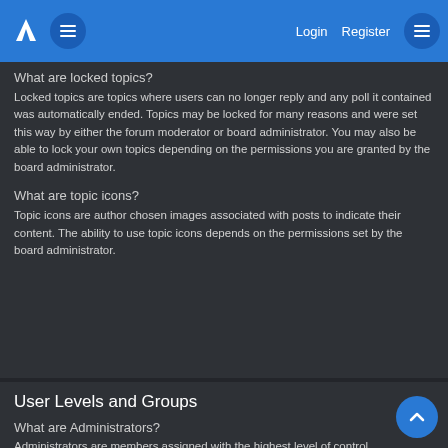Navigation bar with logo, menu button, Login, Register links
What are locked topics?
Locked topics are topics where users can no longer reply and any poll it contained was automatically ended. Topics may be locked for many reasons and were set this way by either the forum moderator or board administrator. You may also be able to lock your own topics depending on the permissions you are granted by the board administrator.
What are topic icons?
Topic icons are author chosen images associated with posts to indicate their content. The ability to use topic icons depends on the permissions set by the board administrator.
User Levels and Groups
What are Administrators?
Administrators are members assigned with the highest level of control